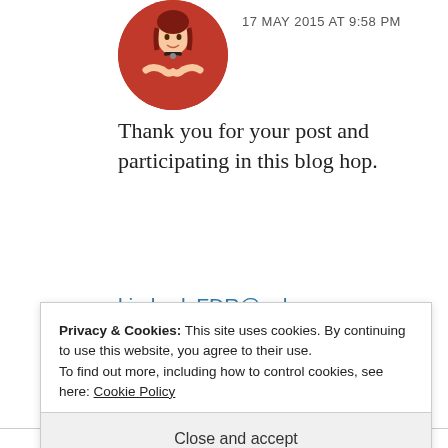[Figure (illustration): Circular avatar of a cartoon woman in red dress with crossed arms]
17 MAY 2015 AT 9:58 PM
Thank you for your post and participating in this blog hop.
kimberlyFDR@yahoo.com
★ Like
REPLY
Privacy & Cookies: This site uses cookies. By continuing to use this website, you agree to their use.
To find out more, including how to control cookies, see here: Cookie Policy
Close and accept
hope you enjoy the rest of the Hop.